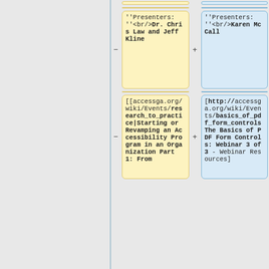''Presenters: ''<br/>Dr. Chris Law and Jeff Kline
''Presenters: ''<br/>Karen McCall
[[accessga.org/wiki/Events/research_to_practice|Starting or Revamping an Accessibility Program in an Organization Part 1: From
[http://accessga.org/wiki/Events/basics_of_pdf_form_controls The Basics of PDF Form Controls: Webinar 3 of 3 - Webinar Resources]